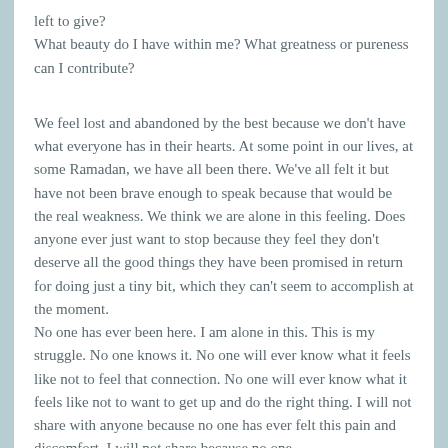left to give?
What beauty do I have within me? What greatness or pureness can I contribute?
We feel lost and abandoned by the best because we don't have what everyone has in their hearts. At some point in our lives, at some Ramadan, we have all been there. We've all felt it but have not been brave enough to speak because that would be the real weakness. We think we are alone in this feeling. Does anyone ever just want to stop because they feel they don't deserve all the good things they have been promised in return for doing just a tiny bit, which they can't seem to accomplish at the moment.
No one has ever been here. I am alone in this. This is my struggle. No one knows it. No one will ever know what it feels like not to feel that connection. No one will ever know what it feels like not to want to get up and do the right thing. I will not share with anyone because no one has ever felt this pain and discomfort. I will not share because no one